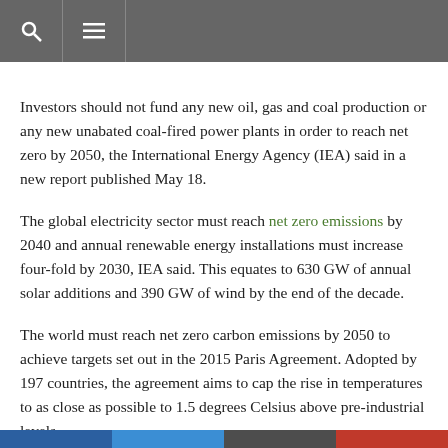[navigation bar with search and menu icons]
Investors should not fund any new oil, gas and coal production or any new unabated coal-fired power plants in order to reach net zero by 2050, the International Energy Agency (IEA) said in a new report published May 18.
The global electricity sector must reach net zero emissions by 2040 and annual renewable energy installations must increase four-fold by 2030, IEA said. This equates to 630 GW of annual solar additions and 390 GW of wind by the end of the decade.
The world must reach net zero carbon emissions by 2050 to achieve targets set out in the 2015 Paris Agreement. Adopted by 197 countries, the agreement aims to cap the rise in temperatures to as close as possible to 1.5 degrees Celsius above pre-industrial levels.
IEA's report sets out more than 400 global milestones to achieve net zero and comes ahead of the next round of global climate talks in Scotland in November. IEA's stark projections surprised some observers as the agency has historically been aligned with hydrocarbon industries.
[social sharing bar]